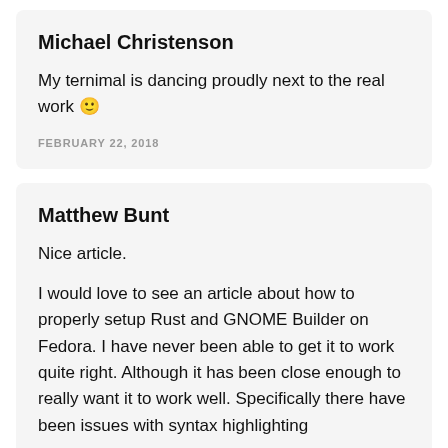Michael Christenson
My ternimal is dancing proudly next to the real work 🙂
FEBRUARY 22, 2018
Matthew Bunt
Nice article.
I would love to see an article about how to properly setup Rust and GNOME Builder on Fedora. I have never been able to get it to work quite right. Although it has been close enough to really want it to work well. Specifically there have been issues with syntax highlighting